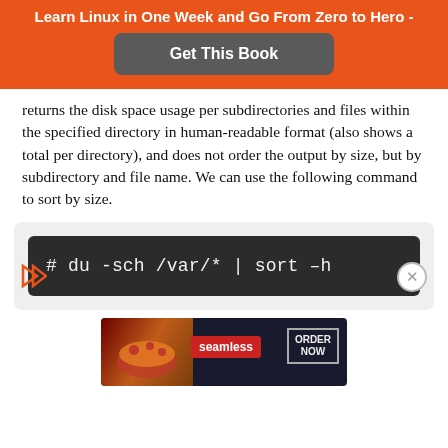Learn Linux in One Week and Go From Zero to Hero -
[Figure (other): Get This Book button on orange banner]
returns the disk space usage per subdirectories and files within the specified directory in human-readable format (also shows a total per directory), and does not order the output by size, but by subdirectory and file name. We can use the following command to sort by size.
[Figure (screenshot): Seamless food delivery advertisement banner]